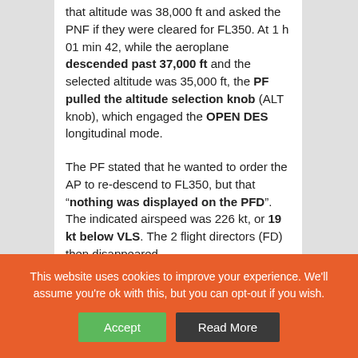that altitude was 38,000 ft and asked the PNF if they were cleared for FL350. At 1 h 01 min 42, while the aeroplane descended past 37,000 ft and the selected altitude was 35,000 ft, the PF pulled the altitude selection knob (ALT knob), which engaged the OPEN DES longitudinal mode.
The PF stated that he wanted to order the AP to re-descend to FL350, but that "nothing was displayed on the PFD". The indicated airspeed was 226 kt, or 19 kt below VLS. The 2 flight directors (FD) then disappeared.
This website uses cookies to improve your experience. We'll assume you're ok with this, but you can opt-out if you wish.